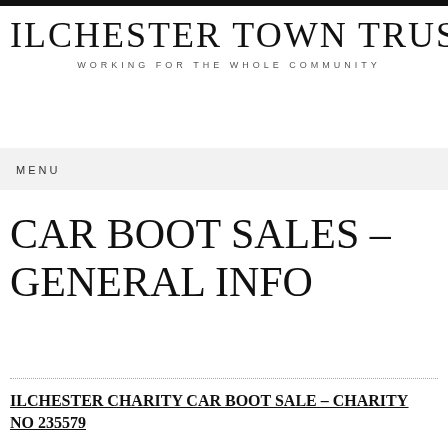ILCHESTER TOWN TRUST
WORKING FOR THE WHOLE COMMUNITY
MENU
CAR BOOT SALES – GENERAL INFO
ILCHESTER CHARITY CAR BOOT SALE – CHARITY NO 235579